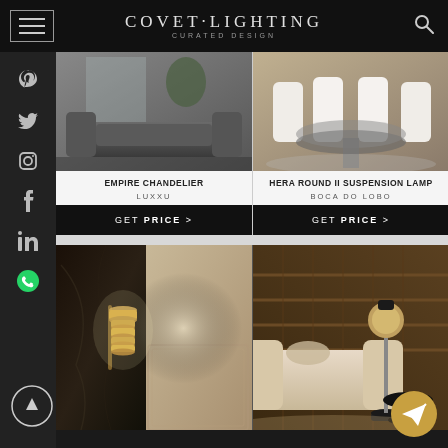COVET·LIGHTING — CURATED DESIGN
[Figure (photo): Luxury living room with grey tufted sofa and pendant light — Empire Chandelier product image]
[Figure (photo): Elegant dining room with white chairs and round marble table — Hera Round II Suspension Lamp product image]
EMPIRE CHANDELIER
LUXXU
GET PRICE >
HERA ROUND II SUSPENSION LAMP
BOCA DO LOBO
GET PRICE >
[Figure (photo): Wall sconce lamp with gold/brass cylindrical design against dark marble wall]
[Figure (photo): Modern floor lamp next to white sofa with geometric wood panel background]